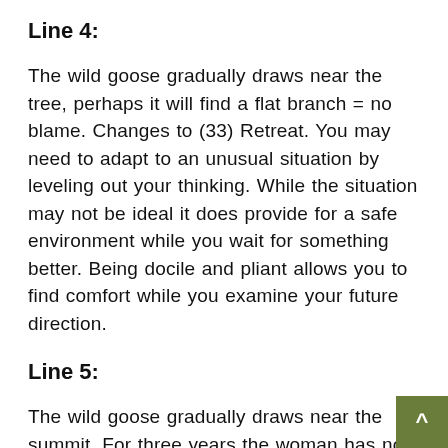Line 4:
The wild goose gradually draws near the tree, perhaps it will find a flat branch = no blame. Changes to (33) Retreat. You may need to adapt to an unusual situation by leveling out your thinking. While the situation may not be ideal it does provide for a safe environment while you wait for something better. Being docile and pliant allows you to find comfort while you examine your future direction.
Line 5:
The wild goose gradually draws near the summit. For three years the woman has no child = in the end progress. Good fortune. Changes to (52) Keeping Still. While you make progress toward your goal this can